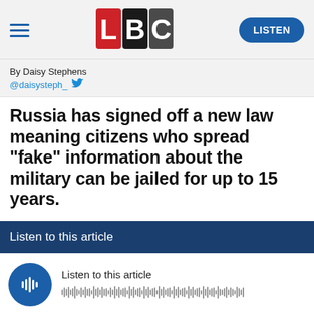[Figure (logo): LBC radio logo with L in red, B in black, C in dark gray squares]
By Daisy Stephens
@daisysteph_
Russia has signed off a new law meaning citizens who spread "fake" information about the military can be jailed for up to 15 years.
Listen to this article
[Figure (other): Audio player with play button and waveform showing 'Listen to this article']